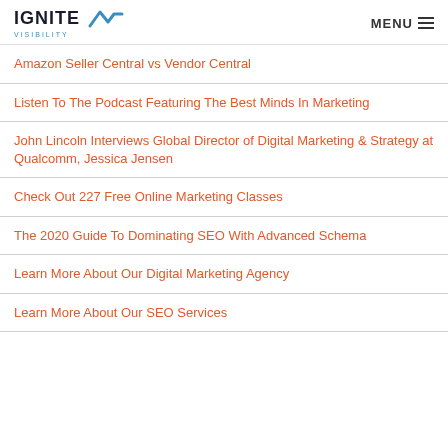IGNITE VISIBILITY — MENU
Amazon Seller Central vs Vendor Central
Listen To The Podcast Featuring The Best Minds In Marketing
John Lincoln Interviews Global Director of Digital Marketing & Strategy at Qualcomm, Jessica Jensen
Check Out 227 Free Online Marketing Classes
The 2020 Guide To Dominating SEO With Advanced Schema
Learn More About Our Digital Marketing Agency
Learn More About Our SEO Services